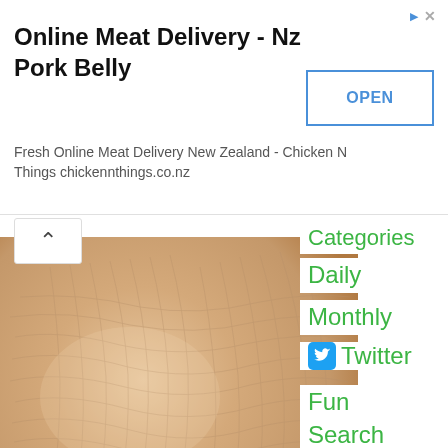[Figure (screenshot): Advertisement banner for Online Meat Delivery - Nz Pork Belly with OPEN button]
Online Meat Delivery - Nz Pork Belly
Fresh Online Meat Delivery New Zealand - Chicken N Things chickennthings.co.nz
[Figure (photo): Close-up photo of aged human skin with wrinkles around the mouth/cheek area]
Doctors Stunned: This Removes Wrinkles and Eye-b (Try Tonight!)
Categories
Daily
Monthly
Twitter
Fun
Search
About
Jump to bottom
This website is using cookies. We use them to give you the best experience. If you continue using our website, we'll assume that you are happy to receive all cookies on this website.
Continue
Learn more